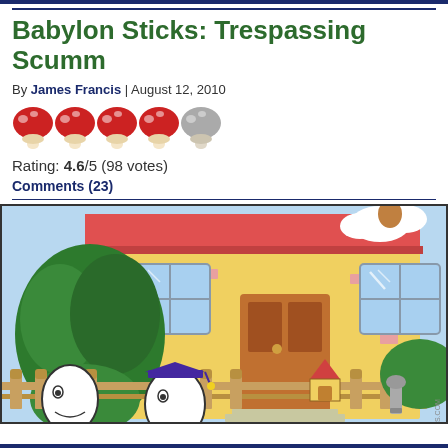Babylon Sticks: Trespassing Scumm
By James Francis | August 12, 2010
[Figure (illustration): Five mushroom rating icons, four red and one grey, used as a star-rating system]
Rating: 4.6/5 (98 votes)
Comments (23)
[Figure (illustration): Comic strip panel showing a cartoon house with green bushes, a wooden fence, stick-figure characters with egg-shaped heads wearing graduation caps, and a small doghouse. The house has a red tile roof, an orange front door with steps, and windows.]